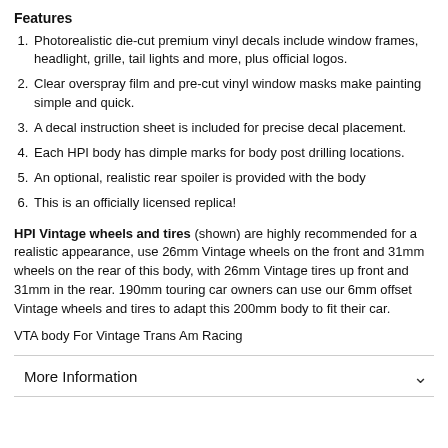Features
Photorealistic die-cut premium vinyl decals include window frames, headlight, grille, tail lights and more, plus official logos.
Clear overspray film and pre-cut vinyl window masks make painting simple and quick.
A decal instruction sheet is included for precise decal placement.
Each HPI body has dimple marks for body post drilling locations.
An optional, realistic rear spoiler is provided with the body
This is an officially licensed replica!
HPI Vintage wheels and tires (shown) are highly recommended for a realistic appearance, use 26mm Vintage wheels on the front and 31mm wheels on the rear of this body, with 26mm Vintage tires up front and 31mm in the rear. 190mm touring car owners can use our 6mm offset Vintage wheels and tires to adapt this 200mm body to fit their car.
VTA body For Vintage Trans Am Racing
More Information